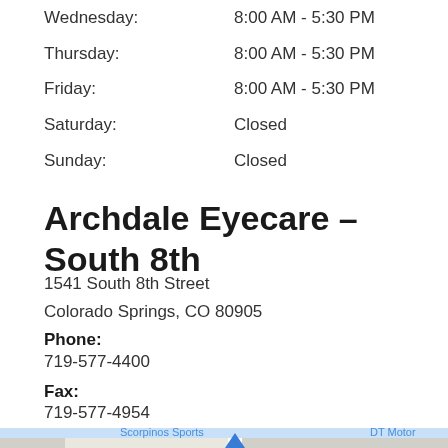Wednesday: 8:00 AM - 5:30 PM
Thursday: 8:00 AM - 5:30 PM
Friday: 8:00 AM - 5:30 PM
Saturday: Closed
Sunday: Closed
Archdale Eyecare – South 8th
1541 South 8th Street
Colorado Springs, CO 80905
Phone:
719-577-4400
Fax:
719-577-4954
[Figure (map): Google Maps snapshot showing area around 1541 South 8th Street, Colorado Springs. Shows BROADMOOR neighborhood, United States Postal Service, W Brookside St, Foothills Rd, Milky Way, Yucca Dr, Parkway Dr, Lorraine St, S 8th St. Blue location marker visible.]